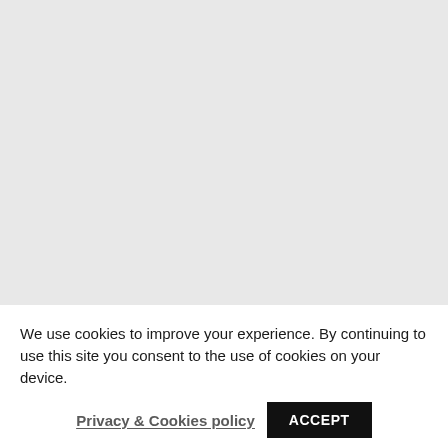[Figure (other): Large light gray empty area occupying the upper portion of the page]
We use cookies to improve your experience. By continuing to use this site you consent to the use of cookies on your device.
Privacy & Cookies policy   ACCEPT